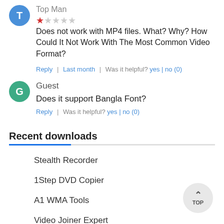Top Man
★☆☆☆☆  Does not work with MP4 files. What? Why? How Could It Not Work With The Most Common Video Format?
Reply  |  Last month  |  Was it helpful? yes | no (0)
Guest
Does it support Bangla Font?
Reply  |  Was it helpful? yes | no (0)
Recent downloads
Stealth Recorder
1Step DVD Copier
A1 WMA Tools
Video Joiner Expert
AVCWare Video Cutter
GMSL Toggle